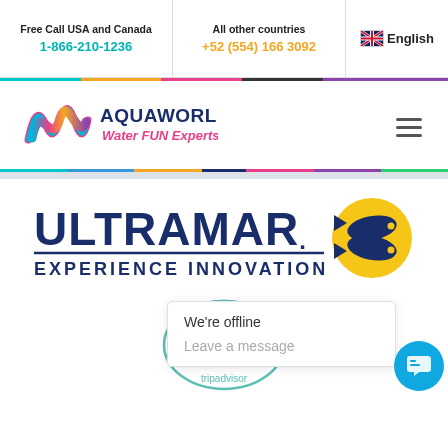Free Call USA and Canada 1-866-210-1236 | All other countries +52 (554) 166 3092 | English
[Figure (logo): Aquaworld Water FUN Experts logo with colorful wave mark]
[Figure (logo): Ultramar. Experience Innovation logo with yellow fish circle badge]
[Figure (other): 2019 Certificate of Excellence badge (TripAdvisor style)]
We're offline
Leave a message